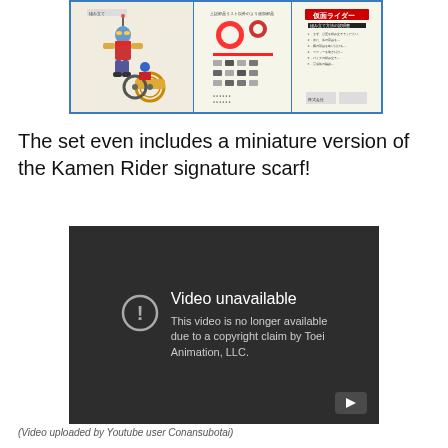[Figure (photo): Kamen Rider toy set instruction manual/packaging image showing a robot figure and motorcycle in colorful illustration, with Japanese text panels including parts list and instructions. Blue border around the composite image.]
The set even includes a miniature version of the Kamen Rider signature scarf!
[Figure (screenshot): YouTube video unavailable screen with dark background. Shows a circle-exclamation icon on left and text: 'Video unavailable' followed by 'This video is no longer available due to a copyright claim by Toei Animation, LLC.' A YouTube play button is in the bottom right corner.]
(Video uploaded by Youtube user Conansubotai)